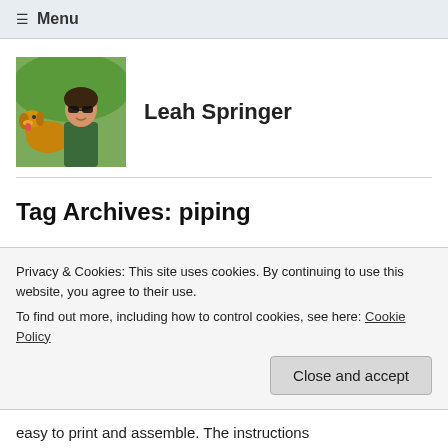≡ Menu
[Figure (photo): Profile photo of Leah Springer with a dog, woman wearing sunglasses outdoors]
Leah Springer
Tag Archives: piping
DIY Retro Overnight Bag
Hi everyone! This month I decided to dedicate a free
Privacy & Cookies: This site uses cookies. By continuing to use this website, you agree to their use. To find out more, including how to control cookies, see here: Cookie Policy
easy to print and assemble. The instructions